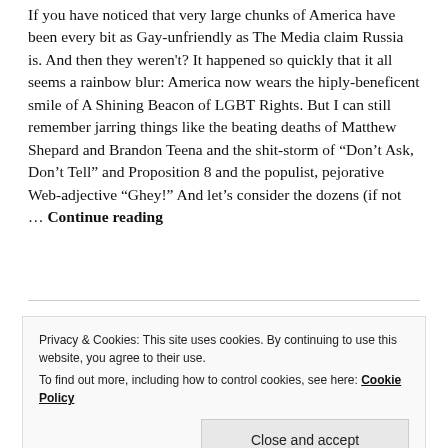If you have noticed that very large chunks of America have been every bit as Gay-unfriendly as The Media claim Russia is. And then they weren't? It happened so quickly that it all seems a rainbow blur: America now wears the hiply-beneficent smile of A Shining Beacon of LGBT Rights. But I can still remember jarring things like the beating deaths of Matthew Shepard and Brandon Teena and the shit-storm of “Don’t Ask, Don’t Tell” and Proposition 8 and the populist, pejorative Web-adjective “Ghey!” And let’s consider the dozens (if not … Continue reading
POPAGENDA, PSYCHOPATHY MASQUERADING AS POLITICS
Privacy & Cookies: This site uses cookies. By continuing to use this website, you agree to their use. To find out more, including how to control cookies, see here: Cookie Policy
Close and accept
[Figure (photo): Partial bottom strip showing colorful images, partially cut off at bottom of page]